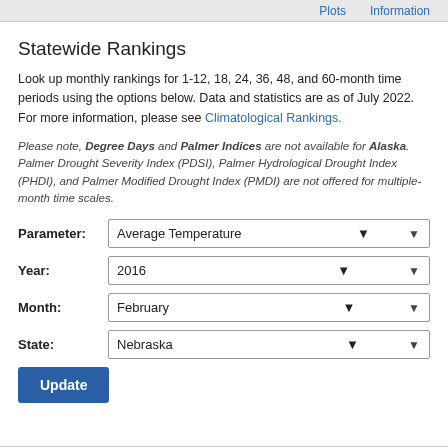Plots   Information
Statewide Rankings
Look up monthly rankings for 1-12, 18, 24, 36, 48, and 60-month time periods using the options below. Data and statistics are as of July 2022. For more information, please see Climatological Rankings.
Please note, Degree Days and Palmer Indices are not available for Alaska. Palmer Drought Severity Index (PDSI), Palmer Hydrological Drought Index (PHDI), and Palmer Modified Drought Index (PMDI) are not offered for multiple-month time scales.
| Field | Value |
| --- | --- |
| Parameter: | Average Temperature |
| Year: | 2016 |
| Month: | February |
| State: | Nebraska |